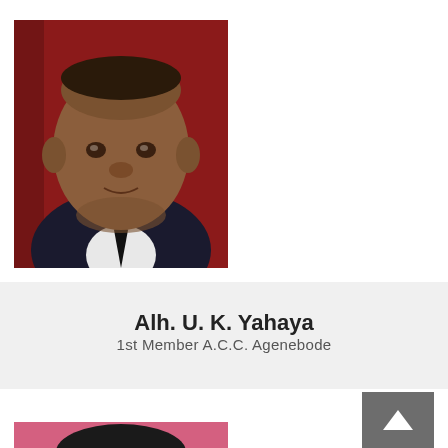[Figure (photo): Headshot photo of Alh. U. K. Yahaya, a man in a dark suit and tie against a red background]
Alh. U. K. Yahaya
1st Member A.C.C. Agenebode
[Figure (photo): Partial headshot of a second person with pink background, cropped at bottom of page]
[Figure (other): Scroll-to-top button, dark grey background with upward arrow]